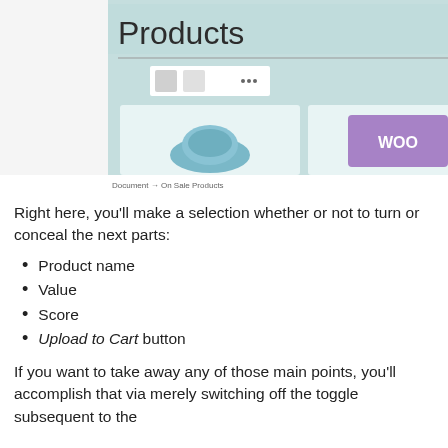[Figure (screenshot): Screenshot of a WooCommerce Products block editor showing product grid with hats and WooCommerce logo, alongside a right panel with toggle controls for Content settings: Product title, Product price, Product rating, Add to Cart button. The panel has an orange/red border highlight. Caption at bottom reads 'Document → On Sale Products'.]
Right here, you'll make a selection whether or not to turn or conceal the next parts:
Product name
Value
Score
Upload to Cart button
If you want to take away any of those main points, you'll accomplish that via merely switching off the toggle subsequent to the